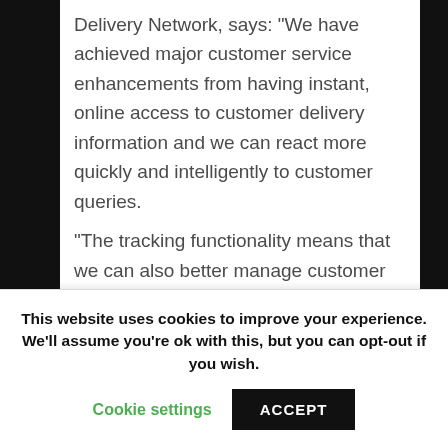Delivery Network, says: “We have achieved major customer service enhancements from having instant, online access to customer delivery information and we can react more quickly and intelligently to customer queries.
“The tracking functionality means that we can also better manage customer delivery expectations and take pre-emptive action where necessary.”
Deployment of the ePOD system has resulted in a 20 per cent cut in the number of claims for incomplete delivery as information accuracy has been improved.
Ivers adds: “The ePOD solution from VSc gave us
This website uses cookies to improve your experience. We’ll assume you’re ok with this, but you can opt-out if you wish.
Cookie settings    ACCEPT